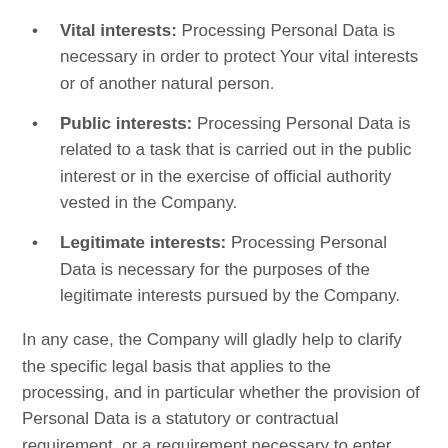Vital interests: Processing Personal Data is necessary in order to protect Your vital interests or of another natural person.
Public interests: Processing Personal Data is related to a task that is carried out in the public interest or in the exercise of official authority vested in the Company.
Legitimate interests: Processing Personal Data is necessary for the purposes of the legitimate interests pursued by the Company.
In any case, the Company will gladly help to clarify the specific legal basis that applies to the processing, and in particular whether the provision of Personal Data is a statutory or contractual requirement, or a requirement necessary to enter into a contract.